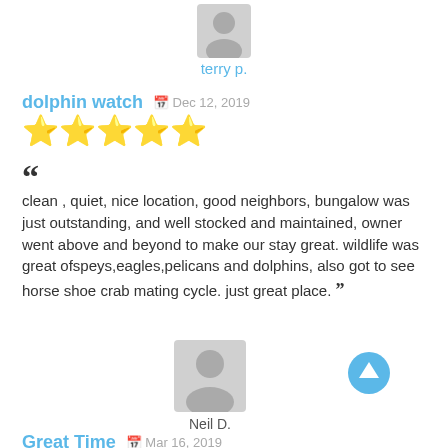[Figure (illustration): Grey placeholder avatar icon for user terry p.]
terry p.
dolphin watch   Dec 12, 2019
★★★★★
clean , quiet, nice location, good neighbors, bungalow was just outstanding, and well stocked and maintained, owner went above and beyond to make our stay great. wildlife was great ofspeys,eagles,pelicans and dolphins, also got to see horse shoe crab mating cycle. just great place.
[Figure (illustration): Grey placeholder avatar icon for user Neil D.]
Neil D.
[Figure (illustration): Blue circular up arrow icon]
Great Time   Mar 16, 2019